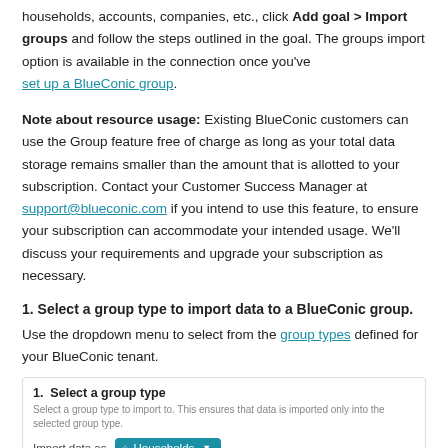households, accounts, companies, etc., click Add goal > Import groups and follow the steps outlined in the goal. The groups import option is available in the connection once you've set up a BlueConic group.
Note about resource usage: Existing BlueConic customers can use the Group feature free of charge as long as your total data storage remains smaller than the amount that is allotted to your subscription. Contact your Customer Success Manager at support@blueconic.com if you intend to use this feature, to ensure your subscription can accommodate your intended usage. We'll discuss your requirements and upgrade your subscription as necessary.
1. Select a group type to import data to a BlueConic group.
Use the dropdown menu to select from the group types defined for your BlueConic tenant.
[Figure (screenshot): UI screenshot showing a 'Select a group type' panel with label '1. Select a group type', subtext 'Select a group type to import to. This ensures that data is imported only into the selected group type.', and a dropdown showing 'Import data as' with a teal 'Households' button with dropdown arrow.]